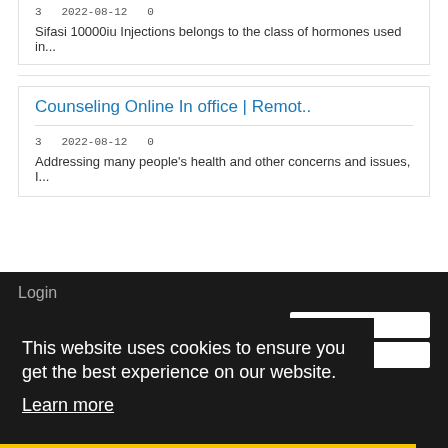3   2022-08-12   0
Sifasi 10000iu Injections belongs to the class of hormones used in...
Counseling Online In office | Remot..
3   2022-08-12   0
Addressing many people's health and other concerns and issues, I...
Login
This website uses cookies to ensure you get the best experience on our website.
Learn more
Got it!
Remember Me
Register | Forgot Password?